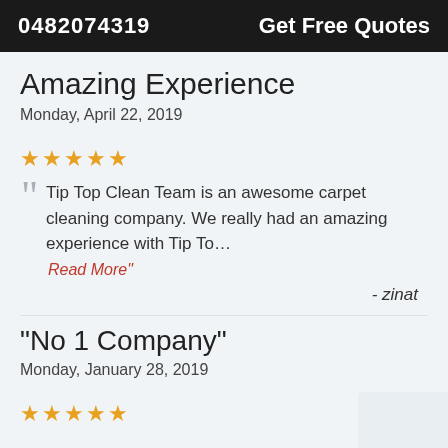0482074319   Get Free Quotes
Amazing Experience
Monday, April 22, 2019
★★★★★
Tip Top Clean Team is an awesome carpet cleaning company. We really had an amazing experience with Tip To… Read More"
- zinat
“No 1 Company”
Monday, January 28, 2019
★★★★★